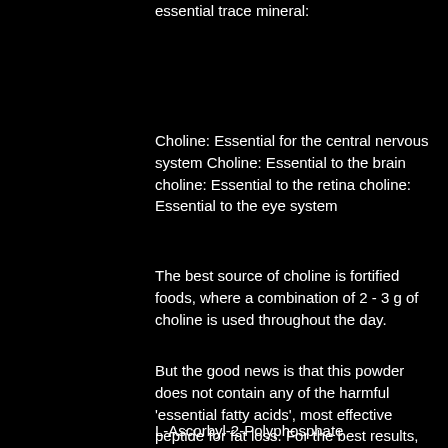essential trace mineral:
Choline: Essential for the central nervous system Choline: Essential to the brain choline: Essential to the retina choline: Essential to the eye system
The best source of choline is fortified foods, where a combination of 2 - 3 g of choline is used throughout the day.
But the good news is that this powder does not contain any of the harmful 'essential fatty acids', most effective peptide for fat loss. For the best results, try combining the choline powder with other ingredients such as:
L-Ascorbyl-2-Polyphosphate